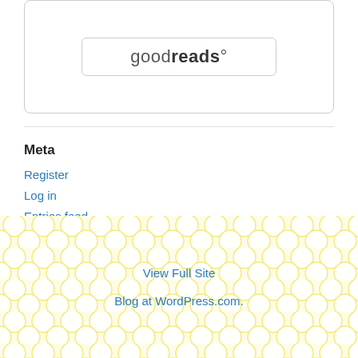[Figure (logo): Goodreads logo inside a rounded rectangle border, showing 'goodreads' text with bold 'reads' portion]
Meta
Register
Log in
Entries feed
Comments feed
WordPress.com
View Full Site
Blog at WordPress.com.